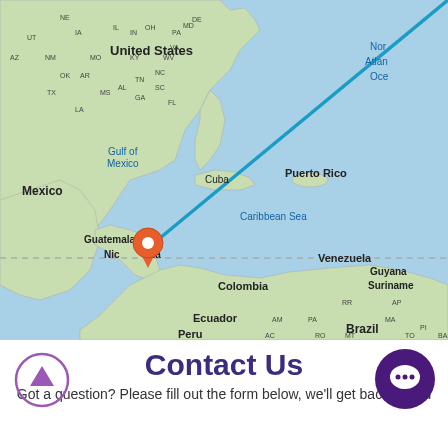[Figure (map): Map showing North America, Central America, and northern South America. A blue diagonal line extends from the northeastern US down to Nicaragua/Central America area, where an orange location pin marker is placed. Countries and regions labeled include United States, Mexico, Gulf of Mexico, Cuba, Puerto Rico, Caribbean Sea, Guatemala, Nicaragua, Venezuela, Guyana, Suriname, Colombia, Ecuador, Peru, Brazil. US state abbreviations visible: UT, AZ, NM, TX, LA, IA, IL, IN, MO, KY, AR, OK, TN, MS, AL, GA, FL, OH, WV, VA, NC, SC, PA, MD, DE, NE, MA, PI, BA. North Atlantic Ocean partially visible. A horizontal dashed line crosses the lower portion of the map.]
Contact Us
Got a question? Please fill out the form below, we'll get back to you